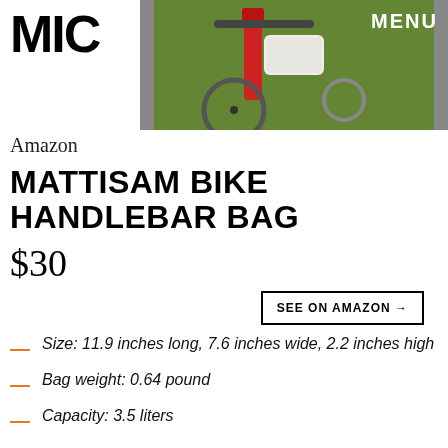[Figure (logo): MIC logo in bold black block letters]
[Figure (photo): Close-up photo of a bike handlebar with a bag attached, grass in background, MENU text overlay in top right]
Amazon
MATTISAM BIKE HANDLEBAR BAG
$30
SEE ON AMAZON →
Size: 11.9 inches long, 7.6 inches wide, 2.2 inches high
Bag weight: 0.64 pound
Capacity: 3.5 liters